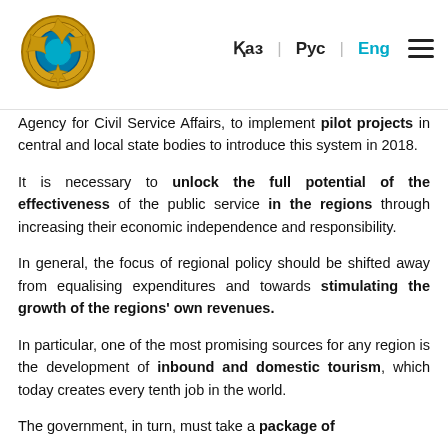Қаз | Рус | Eng
Agency for Civil Service Affairs, to implement pilot projects in central and local state bodies to introduce this system in 2018.
It is necessary to unlock the full potential of the effectiveness of the public service in the regions through increasing their economic independence and responsibility.
In general, the focus of regional policy should be shifted away from equalising expenditures and towards stimulating the growth of the regions' own revenues.
In particular, one of the most promising sources for any region is the development of inbound and domestic tourism, which today creates every tenth job in the world.
The government, in turn, must take a package of